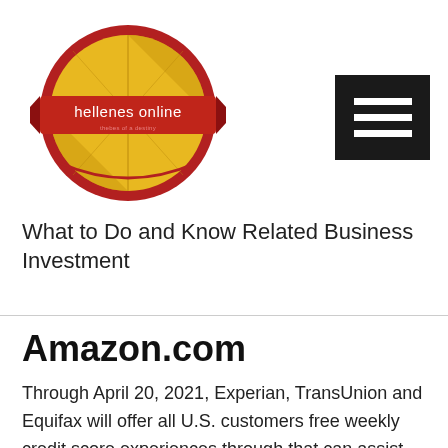[Figure (logo): Hellenes Online circular logo with red and yellow/gold color scheme, featuring a red banner with white text 'hellenes online' across the center]
[Figure (other): Black square hamburger menu button with three white horizontal lines]
What to Do and Know Related Business Investment
Amazon.com
Through April 20, 2021, Experian, TransUnion and Equifax will offer all U.S. customers free weekly credit score experiences through that can assist you shield your monetary well being